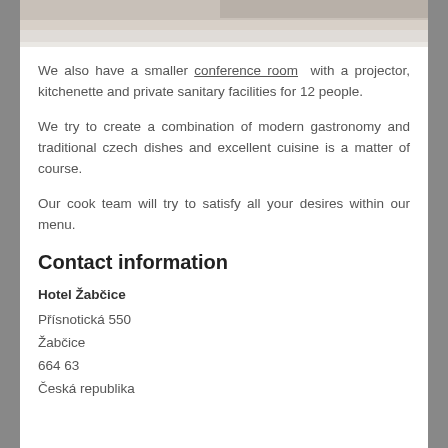[Figure (photo): Partial view of a room interior, likely a hotel room or conference room, showing floor and furniture edge at the top of the page.]
We also have a smaller conference room with a projector, kitchenette and private sanitary facilities for 12 people.
We try to create a combination of modern gastronomy and traditional czech dishes and excellent cuisine is a matter of course.
Our cook team will try to satisfy all your desires within our menu.
Contact information
Hotel Žabčice
Přísnotická 550
Žabčice
664 63
Česká republika